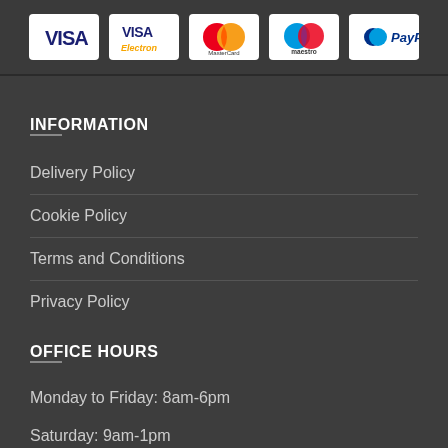[Figure (logo): Payment method logos: Visa, Visa Electron, MasterCard, Maestro, PayPal displayed in white card boxes on dark background]
INFORMATION
Delivery Policy
Cookie Policy
Terms and Conditions
Privacy Policy
OFFICE HOURS
Monday to Friday: 8am-6pm
Saturday: 9am-1pm